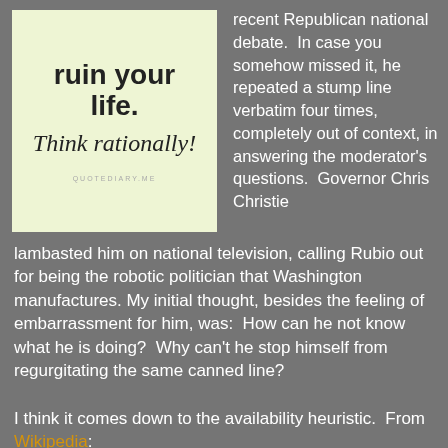[Figure (illustration): Quote image on light yellow-green background reading 'ruin your life. Think rationally!' with 'QUOTEDIARY.ME' credit at bottom]
recent Republican national debate.  In case you somehow missed it, he repeated a stump line verbatim four times, completely out of context, in answering the moderator's questions.  Governor Chris Christie lambasted him on national television, calling Rubio out for being the robotic politician that Washington manufactures.  My initial thought, besides the feeling of embarrassment for him, was:  How can he not know what he is doing?  Why can't he stop himself from regurgitating the same canned line?
I think it comes down to the availability heuristic.  From Wikipedia:
The availability heuristic is a mental shortcut that relies on immediate examples that come to a given person's mind when evaluating a specific topic, concept, method or decision.